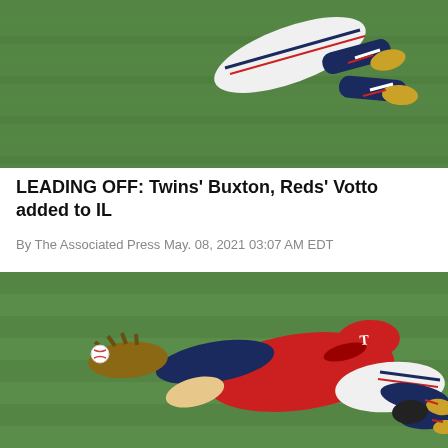[Figure (photo): Baseball player (Minnesota Twins) diving or sliding on green outfield grass, viewed from above showing legs and cleats]
LEADING OFF: Twins' Buxton, Reds' Votto added to IL
By The Associated Press May. 08, 2021 03:07 AM EDT
[Figure (photo): Minnesota Twins outfielder Byron Buxton making a diving catch on green outfield grass, wearing red jersey and navy sleeves, glove extended with baseball]